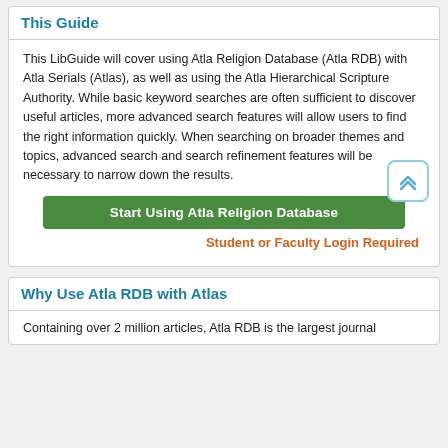This Guide
This LibGuide will cover using Atla Religion Database (Atla RDB) with Atla Serials (Atlas), as well as using the Atla Hierarchical Scripture Authority. While basic keyword searches are often sufficient to discover useful articles, more advanced search features will allow users to find the right information quickly. When searching on broader themes and topics, advanced search and search refinement features will be necessary to narrow down the results.
Start Using Atla Religion Database
Student or Faculty Login Required
Why Use Atla RDB with Atlas
Containing over 2 million articles, Atla RDB is the largest journal